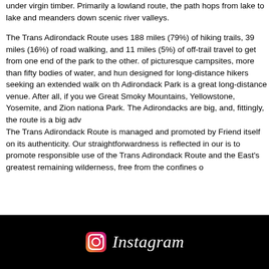under virgin timber. Primarily a lowland route, the path hops from lake to lake and meanders down scenic river valleys.
The Trans Adirondack Route uses 188 miles (79%) of hiking trails, 39 miles (16%) of road walking, and 11 miles (5%) of off-trail travel to get from one end of the park to the other. of picturesque campsites, more than fifty bodies of water, and hun designed for long-distance hikers seeking an extended walk on th Adirondack Park is a great long-distance venue. After all, if you we Great Smoky Mountains, Yellowstone, Yosemite, and Zion nationa Park. The Adirondacks are big, and, fittingly, the route is a big adv
The Trans Adirondack Route is managed and promoted by Friend itself on its authenticity. Our straightforwardness is reflected in our is to promote responsible use of the Trans Adirondack Route and the East's greatest remaining wilderness, free from the confines o
[Figure (logo): Instagram logo icon with the word Instagram in italic script]